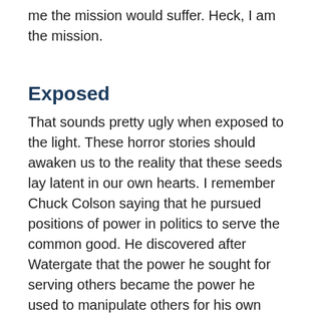me the mission would suffer. Heck, I am the mission.
Exposed
That sounds pretty ugly when exposed to the light. These horror stories should awaken us to the reality that these seeds lay latent in our own hearts. I remember Chuck Colson saying that he pursued positions of power in politics to serve the common good. He discovered after Watergate that the power he sought for serving others became the power he used to manipulate others for his own agenda. It required exposure, repentance, and the power of the Gospel to liberate him to serve Jesus and others at his own expense through Prison Fellowship.
Most of the people in the Bible stumbled in this